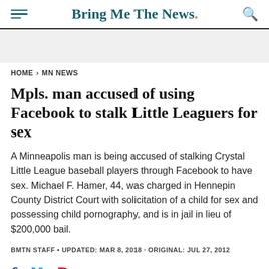Bring Me The News.
HOME > MN NEWS
Mpls. man accused of using Facebook to stalk Little Leaguers for sex
A Minneapolis man is being accused of stalking Crystal Little League baseball players through Facebook to have sex. Michael F. Hamer, 44, was charged in Hennepin County District Court with solicitation of a child for sex and possessing child pornography, and is in jail in lieu of $200,000 bail.
BMTN STAFF • UPDATED: MAR 8, 2018 · ORIGINAL: JUL 27, 2012